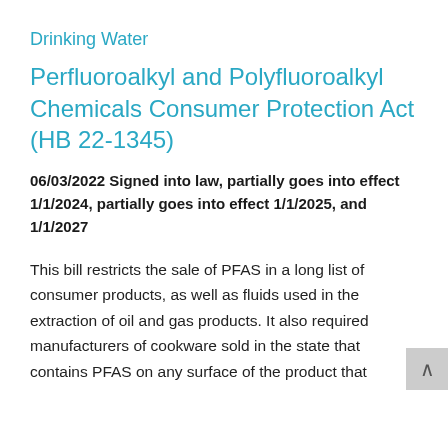Drinking Water
Perfluoroalkyl and Polyfluoroalkyl Chemicals Consumer Protection Act (HB 22-1345)
06/03/2022 Signed into law, partially goes into effect 1/1/2024, partially goes into effect 1/1/2025, and 1/1/2027
This bill restricts the sale of PFAS in a long list of consumer products, as well as fluids used in the extraction of oil and gas products. It also required manufacturers of cookware sold in the state that contains PFAS on any surface of the product that